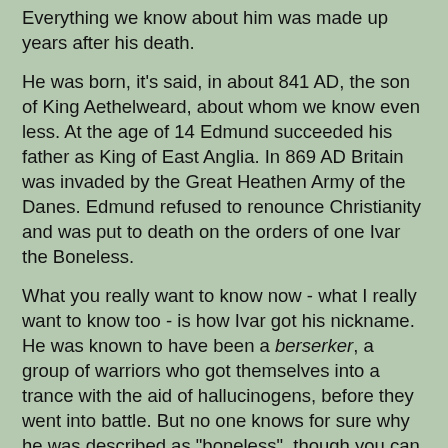Everything we know about him was made up years after his death.
He was born, it's said, in about 841 AD, the son of King Aethelweard, about whom we know even less. At the age of 14 Edmund succeeded his father as King of East Anglia. In 869 AD Britain was invaded by the Great Heathen Army of the Danes. Edmund refused to renounce Christianity and was put to death on the orders of one Ivar the Boneless.
What you really want to know now - what I really want to know too - is how Ivar got his nickname. He was known to have been a berserker, a group of warriors who got themselves into a trance with the aid of hallucinogens, before they went into battle. But no one knows for sure why he was described as "boneless", though you can be sure that there's been plenty of speculation!
Just to make sure that Edmund learned his lesson he was beaten, shot full of arrows and then beheaded. The head was thrown into the forest but his followers found the head with help from a wolf that could talk. Not only that but it